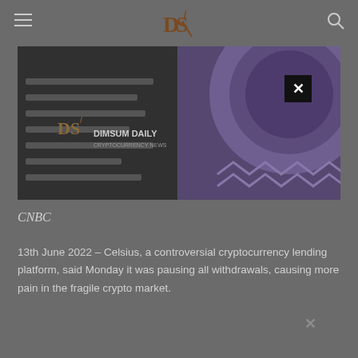DS/ Dimsum Daily (logo with hamburger menu and search icon)
[Figure (screenshot): Hero image showing a dark background with 'DS/ DIMSUM DAILY' branding text on the left, and a large purple/violet circular graphic on the right. A dark close (X) button is overlaid on the image.]
CNBC
13th June 2022 – Celsius, a controversial cryptocurrency lending platform, said Monday it was pausing all withdrawals, causing more pain in the fragile crypto market.